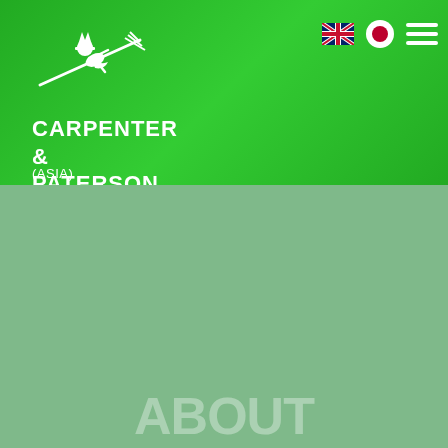[Figure (logo): White witch on broomstick silhouette logo on green background]
CARPENTER & PATERSON (ASIA)
ABOUT CARPENTER & PATERSON (faded watermark text in lower section)